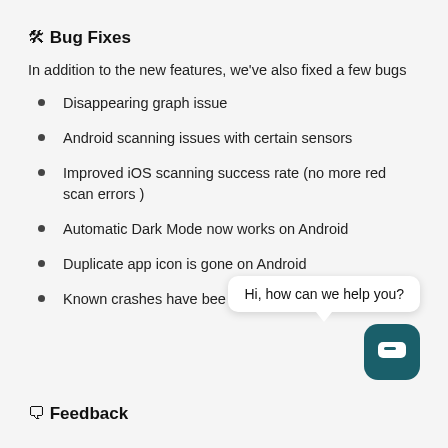🛠 Bug Fixes
In addition to the new features, we've also fixed a few bugs
Disappearing graph issue
Android scanning issues with certain sensors
Improved iOS scanning success rate (no more red scan errors )
Automatic Dark Mode now works on Android
Duplicate app icon is gone on Android
Known crashes have bee…
[Figure (infographic): Chat support widget overlay with bubble saying 'Hi, how can we help you?' and a teal rounded square chat icon button]
🗨 Feedback